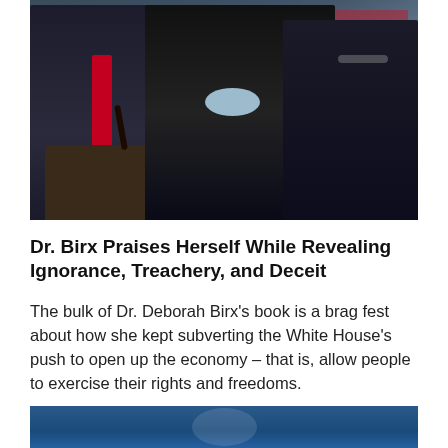[Figure (photo): Press briefing photo showing three figures at a podium: a man in a dark suit with a red tie on the left, a woman in a black top with a light blue scarf speaking at center, and a man in a dark suit with arms crossed on the right, with an American flag in the background]
Dr. Birx Praises Herself While Revealing Ignorance, Treachery, and Deceit
The bulk of Dr. Deborah Birx's book is a brag fest about how she kept subverting the White House's push to open up the economy – that is, allow people to exercise their rights and freedoms.
[Figure (photo): Partial photo at the bottom of the page, appears to be a blue-toned image]